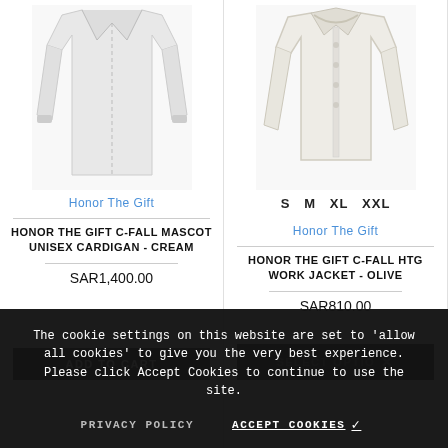[Figure (photo): Product photo of Honor The Gift C-Fall Mascot Unisex Cardigan in Cream - light/white colored cardigan displayed on white background]
Honor The Gift
HONOR THE GIFT C-FALL MASCOT UNISEX CARDIGAN - CREAM
SAR1,400.00
[Figure (photo): Product photo of Honor The Gift C-Fall HTG Work Jacket in Olive - cream/off-white jacket with collar displayed on white background]
S  M  XL  XXL
Honor The Gift
HONOR THE GIFT C-FALL HTG WORK JACKET - OLIVE
SAR810.00
The cookie settings on this website are set to 'allow all cookies' to give you the very best experience. Please click Accept Cookies to continue to use the site.
PRIVACY POLICY
ACCEPT COOKIES ✓